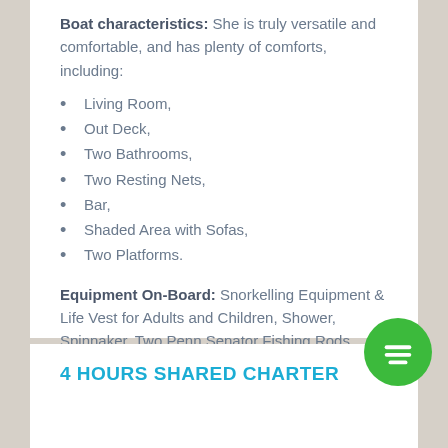Boat characteristics: She is truly versatile and comfortable, and has plenty of comforts, including:
Living Room,
Out Deck,
Two Bathrooms,
Two Resting Nets,
Bar,
Shaded Area with Sofas,
Two Platforms.
Equipment On-Board: Snorkelling Equipment & Life Vest for Adults and Children, Shower, Spinnaker, Two Penn Senator Fishing Rods.
4 HOURS SHARED CHARTER